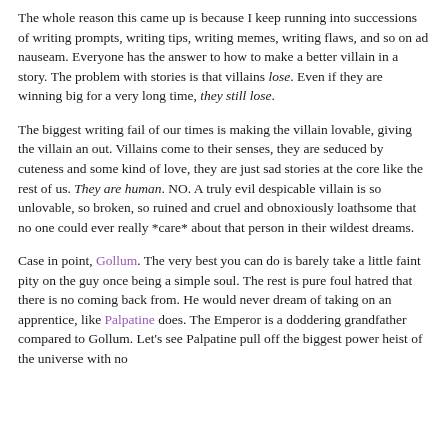The whole reason this came up is because I keep running into successions of writing prompts, writing tips, writing memes, writing flaws, and so on ad nauseam. Everyone has the answer to how to make a better villain in a story. The problem with stories is that villains lose. Even if they are winning big for a very long time, they still lose.
The biggest writing fail of our times is making the villain lovable, giving the villain an out. Villains come to their senses, they are seduced by cuteness and some kind of love, they are just sad stories at the core like the rest of us. They are human. NO. A truly evil despicable villain is so unlovable, so broken, so ruined and cruel and obnoxiously loathsome that no one could ever really *care* about that person in their wildest dreams.
Case in point, Gollum. The very best you can do is barely take a little faint pity on the guy once being a simple soul. The rest is pure foul hatred that there is no coming back from. He would never dream of taking on an apprentice, like Palpatine does. The Emperor is a doddering grandfather compared to Gollum. Let's see Palpatine pull off the biggest power heist of the universe with no